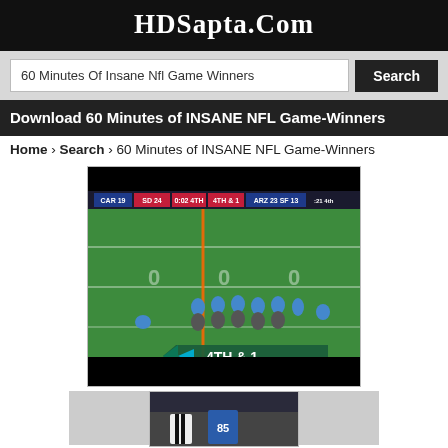HDSapta.Com
60 Minutes Of Insane Nfl Game Winners | Search
Download 60 Minutes of INSANE NFL Game-Winners
Home › Search › 60 Minutes of INSANE NFL Game-Winners
[Figure (screenshot): NFL football game screenshot showing aerial view of field with scoreboard: CAR 19, SD 24, 0:02, 4th, 4th & 1, ARZ 23, SF 13, 2:21 4th. Players lined up at line of scrimmage. Overlay graphic shows '4TH & 1' with arrow.]
[Figure (screenshot): Partial screenshot showing football players on field, partially cut off at bottom of page.]